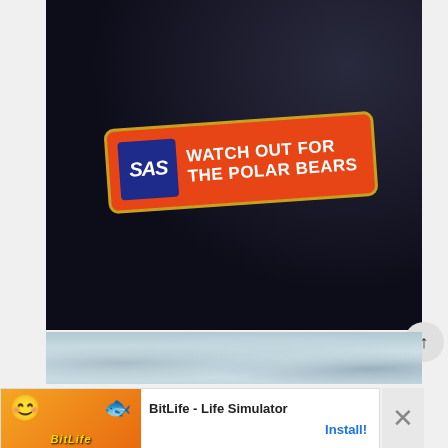[Figure (photo): Photo of dark navy fabric/jacket with an orange-red SAS airline badge/pin reading 'WATCH OUT FOR THE POLAR BEARS' with the SAS logo in a blue square on the left of the badge.]
[Figure (photo): Partial photo showing a snowy or icy surface, likely a continuation of content below.]
[Figure (screenshot): Mobile advertisement banner for BitLife - Life Simulator app with emoji face, sperm icon, orange background image section, app title 'BitLife - Life Simulator', and 'Install!' call-to-action button in blue. Ad label shown top left. Close X button on right.]